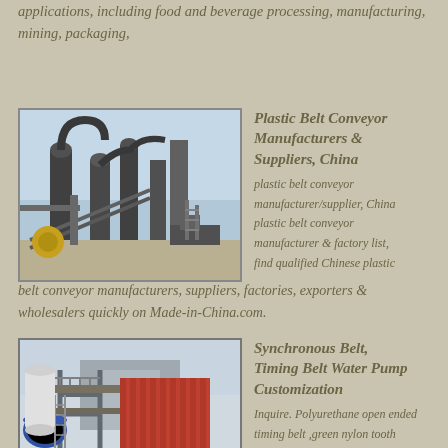applications, including food and beverage processing, manufacturing, mining, packaging,
[Figure (photo): Industrial facility with large metal processing equipment, cyclones/dust collectors, conveyor systems, and machinery in an outdoor industrial setting]
Plastic Belt Conveyor Manufacturers & Suppliers, China
plastic belt conveyor manufacturer/supplier, China plastic belt conveyor manufacturer & factory list, find qualified Chinese plastic belt conveyor manufacturers, suppliers, factories, exporters & wholesalers quickly on Made-in-China.com.
[Figure (photo): Industrial processing plant with elevated structure, metal framework, silos and processing equipment]
Synchronous Belt, Timing Belt Water Pump Customization
Inquire. Polyurethane open ended timing belt ,green nylon tooth facing and backing ,length and